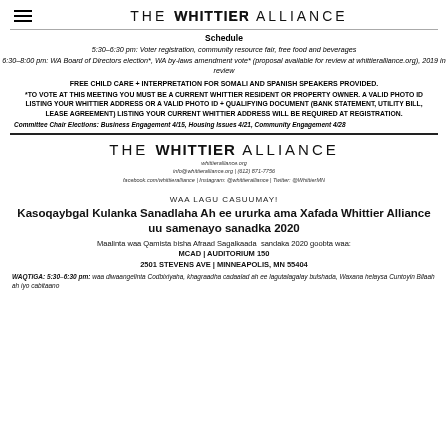THE WHITTIER ALLIANCE
Schedule
5:30–6:30 pm: Voter registration, community resource fair, free food and beverages
6:30–8:00 pm: WA Board of Directors election*, WA by-laws amendment vote* (proposal available for review at whittieralliance.org), 2019 in review
FREE CHILD CARE + INTERPRETATION FOR SOMALI AND SPANISH SPEAKERS PROVIDED.
*TO VOTE AT THIS MEETING YOU MUST BE A CURRENT WHITTIER RESIDENT OR PROPERTY OWNER. A VALID PHOTO ID LISTING YOUR WHITTIER ADDRESS OR A VALID PHOTO ID + QUALIFYING DOCUMENT (BANK STATEMENT, UTILITY BILL, LEASE AGREEMENT) LISTING YOUR CURRENT WHITTIER ADDRESS WILL BE REQUIRED AT REGISTRATION.
Committee Chair Elections: Business Engagement 4/15, Housing Issues 4/21, Community Engagement 4/28
[Figure (logo): THE WHITTIER ALLIANCE logo with website and contact information]
whittieralliance.org
info@whittieralliance.org | (612) 871-7756
facebook.com/whittieralliance | Instagram: @whittieralliance | Twitter: @WhittierMN
WAA LAGU CASUUMAY!
Kasoqaybgal Kulanka Sanadlaha Ah ee ururka ama Xafada Whittier Alliance uu samenayo sanadka 2020
Maalinta waa Qamista bisha Afraad Sagalkaada sandaka 2020 goobta waa:
MCAD | AUDITORIUM 150
2501 STEVENS AVE | MINNEAPOLIS, MN 55404
WAQTIGA: 5:30–6:30 pm: waa diwaangelinta Codbixiyaha, khagraadha cadaalad ah ee lagutalagalay bulshada, Waxana helaysa Cuntoyin Bilaah ah iyo cabitaano